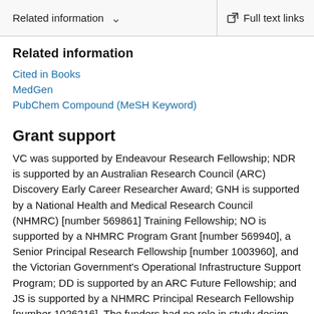Related information  ∨    Full text links
Related information
Cited in Books
MedGen
PubChem Compound (MeSH Keyword)
Grant support
VC was supported by Endeavour Research Fellowship; NDR is supported by an Australian Research Council (ARC) Discovery Early Career Researcher Award; GNH is supported by a National Health and Medical Research Council (NHMRC) [number 569861] Training Fellowship; NO is supported by a NHMRC Program Grant [number 569940], a Senior Principal Research Fellowship [number 1003960], and the Victorian Government's Operational Infrastructure Support Program; DD is supported by an ARC Future Fellowship; and JS is supported by a NHMRC Principal Research Fellowship [number 1026216]. The funders had no role in study design, data collection and analysis, decision to publish,